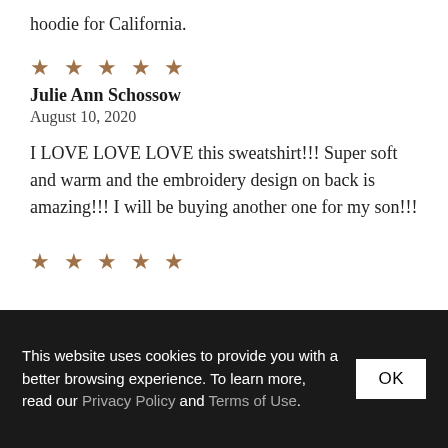hoodie for California.
★★★★★
Julie Ann Schossow
August 10, 2020
I LOVE LOVE LOVE this sweatshirt!!! Super soft and warm and the embroidery design on back is amazing!!! I will be buying another one for my son!!!
★★★★★
This website uses cookies to provide you with a better browsing experience. To learn more, read our Privacy Policy and Terms of Use.